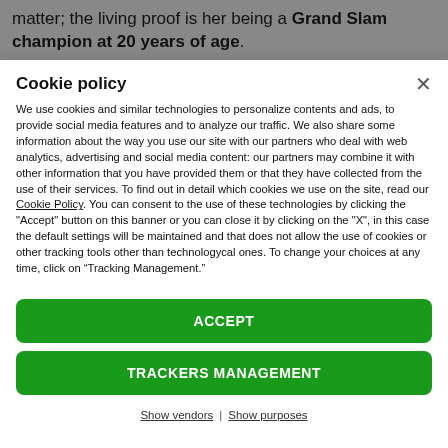matter; the living proof is her being a Grand Slam champion at 20 years of age.
Cookie policy
We use cookies and similar technologies to personalize contents and ads, to provide social media features and to analyze our traffic. We also share some information about the way you use our site with our partners who deal with web analytics, advertising and social media content: our partners may combine it with other information that you have provided them or that they have collected from the use of their services. To find out in detail which cookies we use on the site, read our Cookie Policy. You can consent to the use of these technologies by clicking the "Accept" button on this banner or you can close it by clicking on the "X", in this case the default settings will be maintained and that does not allow the use of cookies or other tracking tools other than technologycal ones. To change your choices at any time, click on “Tracking Management.”
ACCEPT
TRACKERS MANAGEMENT
Show vendors | Show purposes